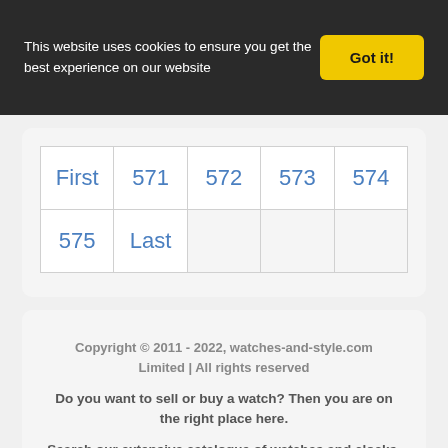This website uses cookies to ensure you get the best experience on our website
Got it!
| First | 571 | 572 | 573 | 574 |
| 575 | Last |
Copyright © 2011 - 2022, watches-and-style.com Limited | All rights reserved
Do you want to sell or buy a watch? Then you are on the right place here.
Search our extensive catalogue of watches and clocks. You can find here every timepiece you can imagine.